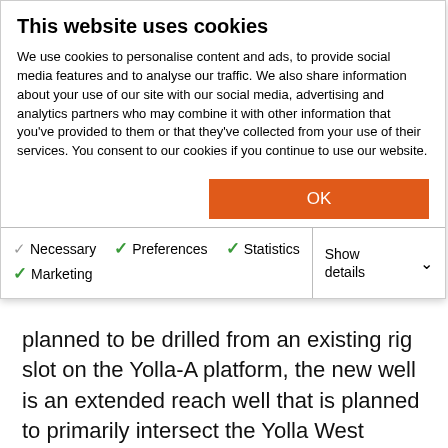This website uses cookies
We use cookies to personalise content and ads, to provide social media features and to analyse our traffic. We also share information about your use of our site with our social media, advertising and analytics partners who may combine it with other information that you've provided to them or that they've collected from your use of their services. You consent to our cookies if you continue to use our website.
OK
Necessary   Preferences   Statistics   Marketing   Show details
planned to be drilled from an existing rig slot on the Yolla-A platform, the new well is an extended reach well that is planned to primarily intersect the Yolla West Target. Beach pointed out in its EP that if the Yolla West target is not commercially viable, the well would be plugged back to a predetermined depth and then sidetracked to drill to the Yolla North target.